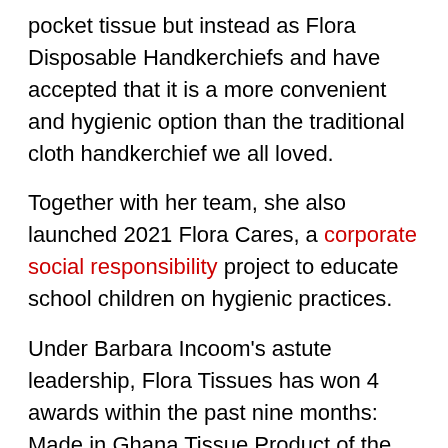pocket tissue but instead as Flora Disposable Handkerchiefs and have accepted that it is a more convenient and hygienic option than the traditional cloth handkerchief we all loved.
Together with her team, she also launched 2021 Flora Cares, a corporate social responsibility project to educate school children on hygienic practices.
Under Barbara Incoom's astute leadership, Flora Tissues has won 4 awards within the past nine months: Made in Ghana Tissue Product of the year (Made in Ghana Awards 2021), Disposable Tissue Brand of the year (National Brand Innovations Awards 2022), One of the Top 100 Brands across industries (National Brand Innovations Awards 2022), National FMCG Tissue Brand of the year (National FMCG Awards 2022).